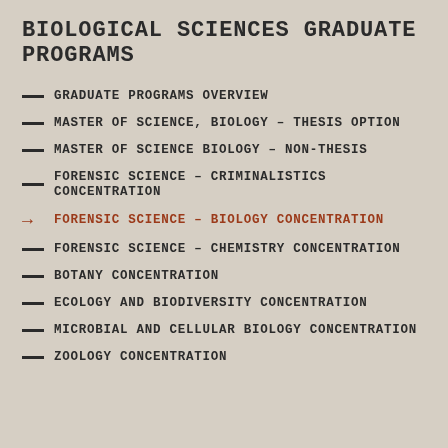BIOLOGICAL SCIENCES GRADUATE PROGRAMS
GRADUATE PROGRAMS OVERVIEW
MASTER OF SCIENCE, BIOLOGY – THESIS OPTION
MASTER OF SCIENCE BIOLOGY – NON-THESIS
FORENSIC SCIENCE – CRIMINALISTICS CONCENTRATION
FORENSIC SCIENCE – BIOLOGY CONCENTRATION
FORENSIC SCIENCE – CHEMISTRY CONCENTRATION
BOTANY CONCENTRATION
ECOLOGY AND BIODIVERSITY CONCENTRATION
MICROBIAL AND CELLULAR BIOLOGY CONCENTRATION
ZOOLOGY CONCENTRATION